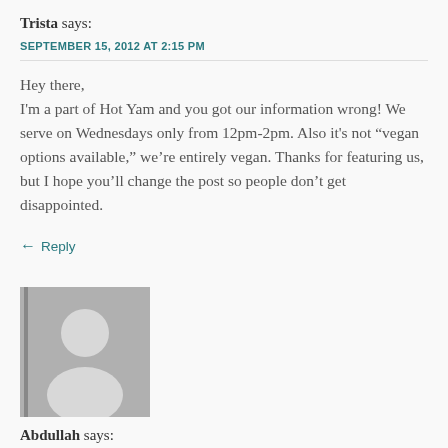Trista says:
SEPTEMBER 15, 2012 AT 2:15 PM
Hey there,
I'm a part of Hot Yam and you got our information wrong! We serve on Wednesdays only from 12pm-2pm. Also it's not “vegan options available,” we’re entirely vegan. Thanks for featuring us, but I hope you’ll change the post so people don’t get disappointed.
Reply
[Figure (illustration): Generic user avatar placeholder - grey silhouette of a person on grey background]
Abdullah says:
SEPTEMBER 15, 2012 AT 3:22 PM